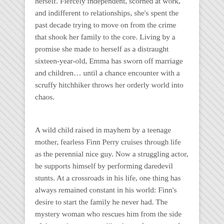herself. Fiercely independent, scorned at work, and indifferent to relationships, she's spent the past decade trying to move on from the crime that shook her family to the core. Living by a promise she made to herself as a distraught sixteen-year-old, Emma has sworn off marriage and children… until a chance encounter with a scruffy hitchhiker throws her orderly world into chaos.
A wild child raised in mayhem by a teenage mother, fearless Finn Perry cruises through life as the perennial nice guy. Now a struggling actor, he supports himself by performing daredevil stunts. At a crossroads in his life, one thing has always remained constant in his world: Finn's desire to start the family he never had. The mystery woman who rescues him from the side of the road sure seems like the perfect person for the job.